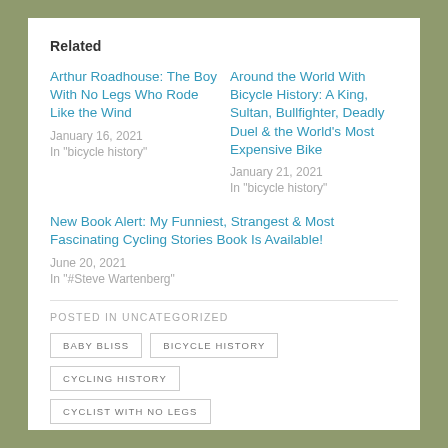Related
Arthur Roadhouse: The Boy With No Legs Who Rode Like the Wind
January 16, 2021
In "bicycle history"
Around the World With Bicycle History: A King, Sultan, Bullfighter, Deadly Duel & the World's Most Expensive Bike
January 21, 2021
In "bicycle history"
New Book Alert: My Funniest, Strangest & Most Fascinating Cycling Stories Book Is Available!
June 20, 2021
In "#Steve Wartenberg"
POSTED IN UNCATEGORIZED
BABY BLISS
BICYCLE HISTORY
CYCLING HISTORY
CYCLIST WITH NO LEGS